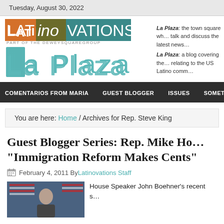Tuesday, August 30, 2022
[Figure (logo): Latinovations / La Plaza blog header logo with colorful text blocks and teal stylized La Plaza lettering]
La Plaza: the town square where we talk and discuss the latest news. La Plaza: a blog covering the news relating to the US Latino community.
COMENTARIOS FROM MARIA  GUEST BLOGGER  ISSUES  SOMETHING SPA...
You are here: Home / Archives for Rep. Steve King
Guest Blogger Series: Rep. Mike Ho... “Immigration Reform Makes Cents”
February 4, 2011 By Latinovations Staff
[Figure (photo): Photo of a person in front of American flags]
House Speaker John Boehner’s recent s...